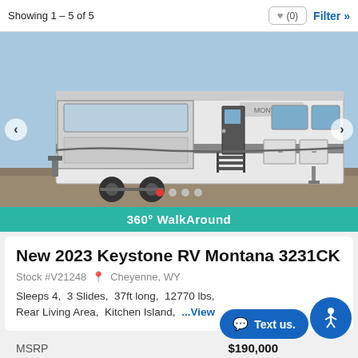Showing 1 – 5 of 5
[Figure (photo): Photo of a white Keystone Montana 3231CK fifth-wheel RV parked outdoors on gravel, showing slide-outs on the left side and entry stairs in the center. A '360° WalkAround' teal banner appears at the bottom of the image with carousel navigation dots above it.]
New 2023 Keystone RV Montana 3231CK
Stock #V21248   Cheyenne, WY
Sleeps 4,  3 Slides,  37ft long,  12770 lbs,  Rear Living Area,  Kitchen Island,  ...View
MSRP  $190,000